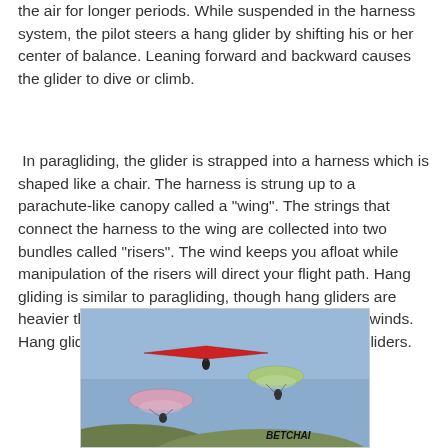the air for longer periods. While suspended in the harness system, the pilot steers a hang glider by shifting his or her center of balance. Leaning forward and backward causes the glider to dive or climb.
In paragliding, the glider is strapped into a harness which is shaped like a chair. The harness is strung up to a parachute-like canopy called a "wing". The strings that connect the harness to the wing are collected into two bundles called "risers". The wind keeps you afloat while manipulation of the risers will direct your flight path. Hang gliding is similar to paragliding, though hang gliders are heavier than paragliders thus they require stronger winds. Hang gliders can glide higher and faster than paragliders.
[Figure (photo): A photograph showing hang gliders and paragliders in flight against a blue sky, with a watermark reading 'BETCHAI' in the lower right corner. A red hang glider is visible near the top, two paragliders (one green, one pink) are lower. Hills are visible at the bottom edge.]